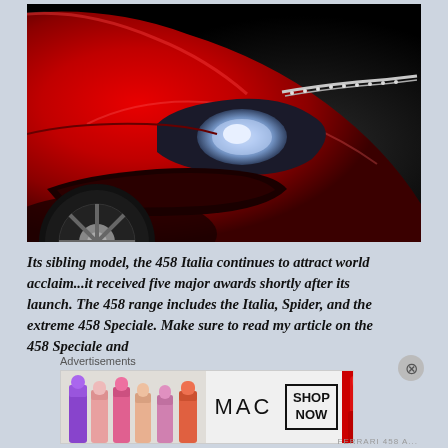[Figure (photo): Close-up photo of a red Ferrari 458 Italia front quarter — showing the distinctive headlight, front bumper intake, and wheel — against a dark grey/black background.]
Its sibling model, the 458 Italia continues to attract world acclaim...it received five major awards shortly after its launch. The 458 range includes the Italia, Spider, and the extreme 458 Speciale. Make sure to read my article on the 458 Speciale and
Advertisements
[Figure (photo): MAC Cosmetics advertisement banner showing lipsticks on the left, MAC logo in the center, a SHOP NOW button, and a red lipstick on the right.]